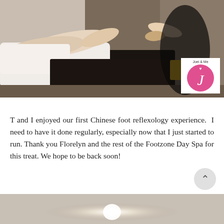[Figure (photo): Photo of a person receiving a Chinese foot reflexology massage, lying on a treatment table with feet extended, a therapist in dark clothing working on the feet. A watermark logo 'Joei & Me' with a pink circle and stylized J is visible in the lower right corner of the photo.]
T and I enjoyed our first Chinese foot reflexology experience.  I need to have it done regularly, especially now that I just started to run. Thank you Florelyn and the rest of the Footzone Day Spa for this treat. We hope to be back soon!
[Figure (photo): Partial bottom photo showing a blurred interior scene with a bright light source in the center against a taupe/beige background.]